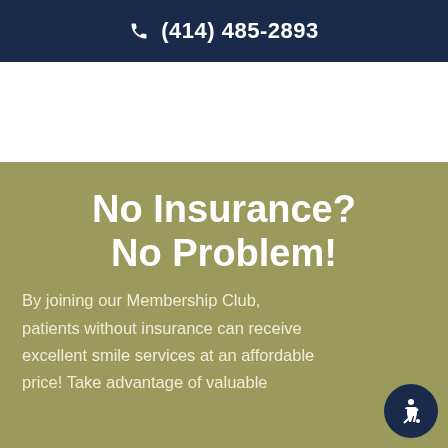☎ (414) 485-2893
No Insurance? No Problem!
By joining our Membership Club, patients without insurance can receive excellent smile services at an affordable price! Take advantage of valuable